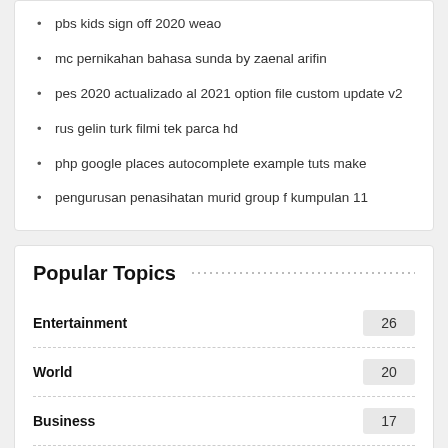pbs kids sign off 2020 weao
mc pernikahan bahasa sunda by zaenal arifin
pes 2020 actualizado al 2021 option file custom update v2
rus gelin turk filmi tek parca hd
php google places autocomplete example tuts make
pengurusan penasihatan murid group f kumpulan 11
Popular Topics
| Topic | Count |
| --- | --- |
| Entertainment | 26 |
| World | 20 |
| Business | 17 |
| Politics | 15 |
| Sports | 15 |